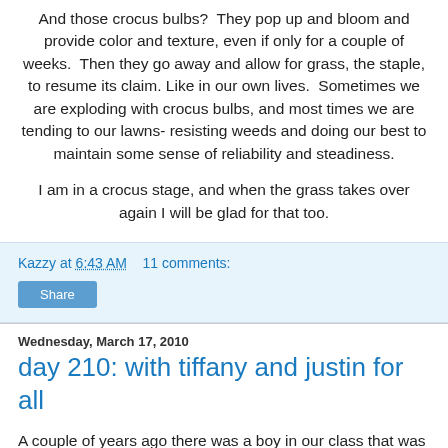And those crocus bulbs?  They pop up and bloom and provide color and texture, even if only for a couple of weeks.  Then they go away and allow for grass, the staple, to resume its claim. Like in our own lives.  Sometimes we are exploding with crocus bulbs, and most times we are tending to our lawns- resisting weeds and doing our best to maintain some sense of reliability and steadiness.
I am in a crocus stage, and when the grass takes over again I will be glad for that too.
Kazzy at 6:43 AM    11 comments:
Share
Wednesday, March 17, 2010
day 210: with tiffany and justin for all
A couple of years ago there was a boy in our class that was